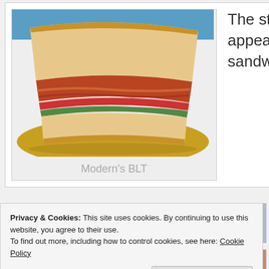[Figure (photo): Close-up photo of a grilled BLT sandwich on a yellow plate, showing layers of bacon, lettuce, tomato between toasted white bread slices]
Modern's BLT
The strength from within the menu appears to be their artistic grilled sandwich
[Figure (photo): Partial photo of a dish with pasta or noodles and meat toppings]
[Figure (photo): Partial photo of a green salad or vegetable dish]
Privacy & Cookies: This site uses cookies. By continuing to use this website, you agree to their use.
To find out more, including how to control cookies, see here: Cookie Policy
Close and accept